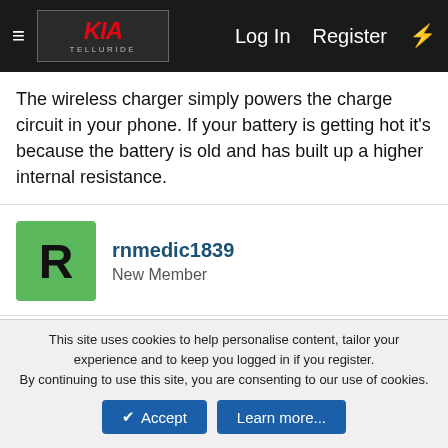KIA Telluride — Log In  Register  ⚡
The wireless charger simply powers the charge circuit in your phone. If your battery is getting hot it's because the battery is old and has built up a higher internal resistance.
rnmedic1839
New Member
Apr 21, 2022   #10
Cam3n said: ↑
To those that have hot phones... It's the phone, not the charger. The wireless charger simply powers the charge circuit in your phone. If your battery is getting hot it's because the battery is old and has built up a higher internal resistance.
This site uses cookies to help personalise content, tailor your experience and to keep you logged in if you register.
By continuing to use this site, you are consenting to our use of cookies.